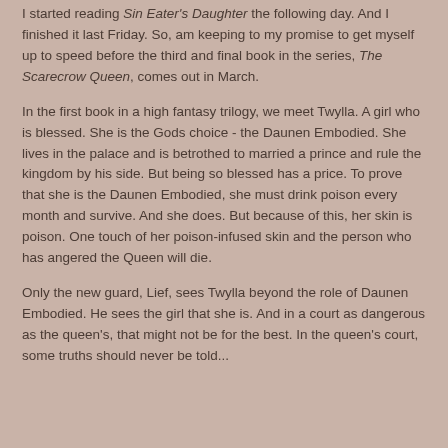I started reading Sin Eater's Daughter the following day. And I finished it last Friday. So, am keeping to my promise to get myself up to speed before the third and final book in the series, The Scarecrow Queen, comes out in March.
In the first book in a high fantasy trilogy, we meet Twylla. A girl who is blessed. She is the Gods choice - the Daunen Embodied. She lives in the palace and is betrothed to married a prince and rule the kingdom by his side. But being so blessed has a price. To prove that she is the Daunen Embodied, she must drink poison every month and survive. And she does. But because of this, her skin is poison. One touch of her poison-infused skin and the person who has angered the Queen will die.
Only the new guard, Lief, sees Twylla beyond the role of Daunen Embodied. He sees the girl that she is. And in a court as dangerous as the queen's, that might not be for the best. In the queen's court, some truths should never be told...